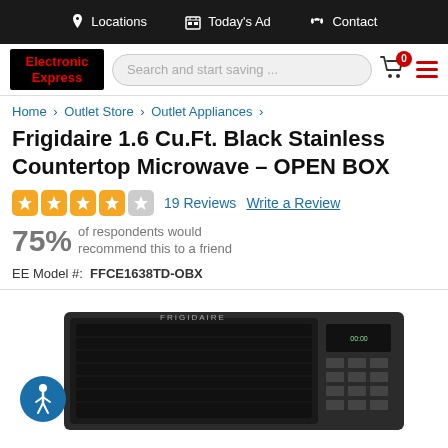Locations   Today's Ad   Contact
[Figure (logo): Electronic Express logo - red text on black background]
Search and start saving ...
Frigidaire 1.6 Cu.Ft. Black Stainless Countertop Microwave - OPEN BOX
19 Reviews   Write a Review
75% of respondents would recommend this to a friend
EE Model #: FFCE1638TD-OBX
[Figure (photo): Frigidaire black stainless countertop microwave product photo with Frigidaire branding and digital keypad visible]